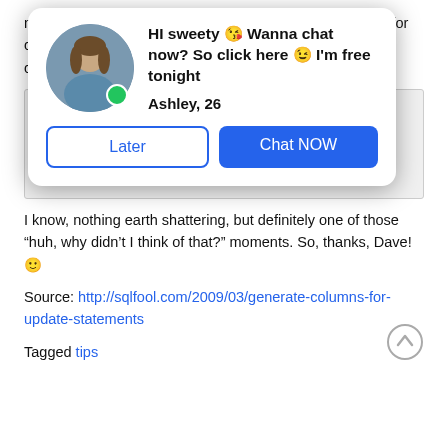[Figure (other): Ad popup dialog with avatar photo of a woman, green online dot, bold text 'HI sweety 😘 Wanna chat now? So click here 😉 I'm free tonight', name 'Ashley, 26', and two buttons: 'Later' (outlined) and 'Chat NOW' (blue filled)]
nicely formatted columns for you. Best of all, no potential for column typos! Just don't forget to remove the very last comma, otherwise you'll get a syntax error.
CustomerID = sales.CustomerID,
Name = sales.Name,
ContactType = sales.ContactType,
(etc.)
I know, nothing earth shattering, but definitely one of those "huh, why didn't I think of that?" moments. So, thanks, Dave! 🙂
Source: http://sqlfool.com/2009/03/generate-columns-for-update-statements
Tagged tips